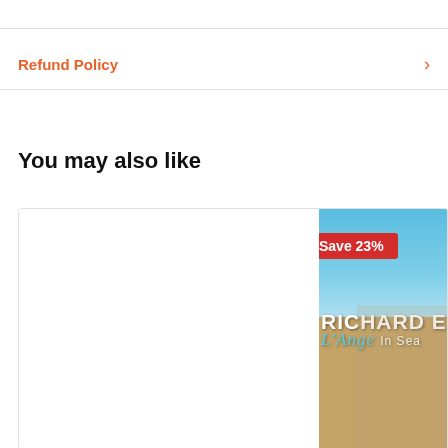Refund Policy
You may also like
[Figure (photo): Product card with a photo of Richard E. movie/show cover titled 'RICHARD E. L'Angel In Seam...' with a blue sky and sandy ground background, and a red 'Save 23%' badge in the top left of the card.]